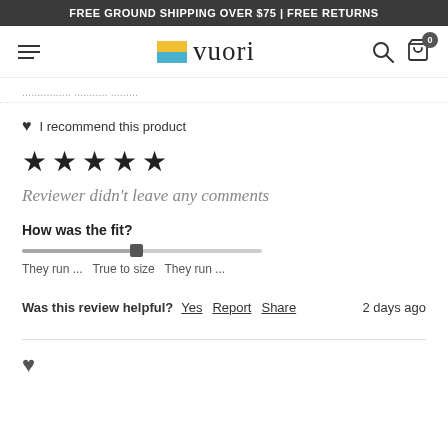FREE GROUND SHIPPING OVER $75 | FREE RETURNS
vuori (logo/navigation bar)
... (truncated location text)
I recommend this product
★★★★★ (5 stars)
Reviewer didn't leave any comments
How was the fit?
They run ... True to size They run ...
Was this review helpful? Yes Report Share 2 days ago